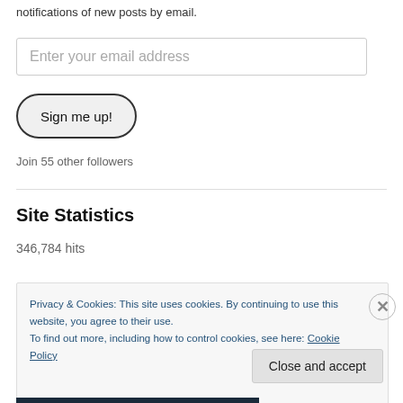notifications of new posts by email.
Enter your email address
Sign me up!
Join 55 other followers
Site Statistics
346,784 hits
Privacy & Cookies: This site uses cookies. By continuing to use this website, you agree to their use.
To find out more, including how to control cookies, see here: Cookie Policy
Close and accept